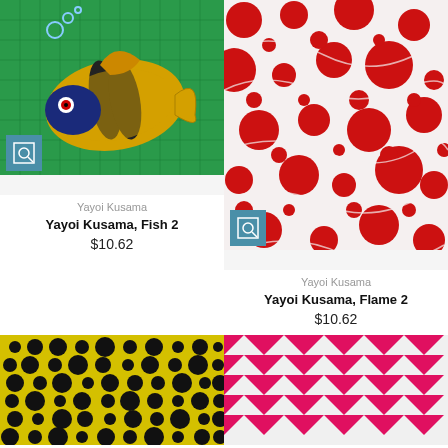[Figure (photo): Artwork - Yayoi Kusama Fish 2: mosaic-style colorful fish on green background]
Yayoi Kusama
Yayoi Kusama, Fish 2
$10.62
[Figure (photo): Artwork - Yayoi Kusama Flame 2: red circular dots and swirling patterns on white/red background]
Yayoi Kusama
Yayoi Kusama, Flame 2
$10.62
[Figure (photo): Artwork - yellow and black polka dot pattern artwork]
[Figure (photo): Artwork - pink and white geometric triangle pattern]